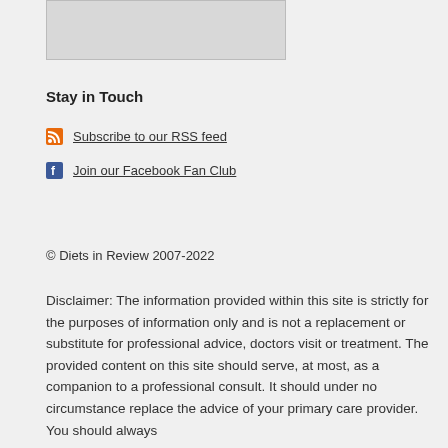[Figure (photo): Image placeholder / thumbnail at top of page]
Stay in Touch
Subscribe to our RSS feed
Join our Facebook Fan Club
© Diets in Review 2007-2022
Disclaimer: The information provided within this site is strictly for the purposes of information only and is not a replacement or substitute for professional advice, doctors visit or treatment. The provided content on this site should serve, at most, as a companion to a professional consult. It should under no circumstance replace the advice of your primary care provider. You should always